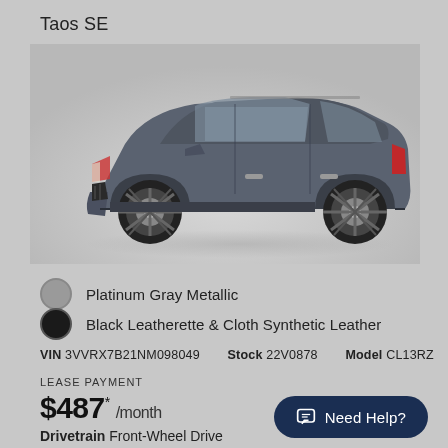Taos SE
[Figure (photo): Side profile photo of a Volkswagen Taos SE SUV in Platinum Gray Metallic color on a light gray background]
Platinum Gray Metallic
Black Leatherette & Cloth Synthetic Leather
VIN 3VVRX7B21NM098049   Stock 22V0878   Model CL13RZ
LEASE PAYMENT
$487* /month
Drivetrain Front-Wheel Drive
Need Help?